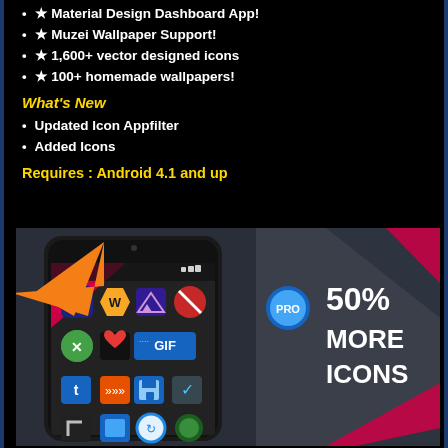★ Material Design Dashboard App!
★ Muzei Wallpaper Support!
★ 1,600+ vector designed icons
★ 100+ homemade wallpapers!
What's New
Updated Icon Appfilter
Added Icons
Requires : Android 4.1 and up
[Figure (screenshot): Screenshot of an Android icon pack app showing a smartphone with colorful app icons and text '50% MORE ICONS' on the right side, on a dark geometric background.]